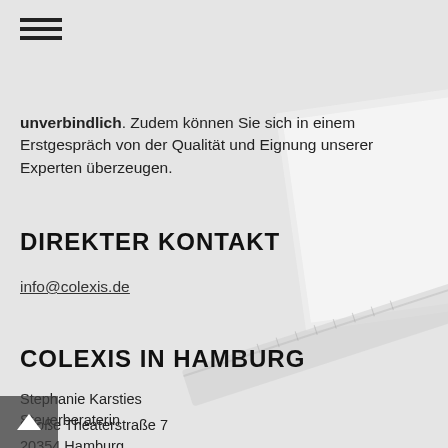[Figure (other): Hamburger menu icon with three horizontal lines]
unverbindlich. Zudem können Sie sich in einem Erstgespräch von der Qualität und Eignung unserer Experten überzeugen.
DIREKTER KONTAKT
info@colexis.de
COLEXIS IN HAMBURG
Stephanie Karsties
Steuerberaterin
Große Theaterstraße 7
20354 Hamburg